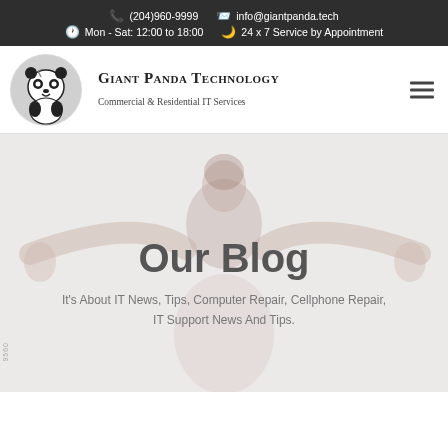(204)960-9999  info@giantpanda.tech  Mon - Sat: 12:00 to 18:00  24 x 7 Service by Appointment
[Figure (logo): Giant Panda Technology logo: circular badge with panda illustration in black and white]
Giant Panda Technology
Commercial & Residential IT Services
[Figure (photo): Woman in white top with arms raised wide, smiling, faded/washed-out background image]
Our Blog
It's About IT News, Tips, Computer Repair, Cellphone Repair, IT Support News And Tips.